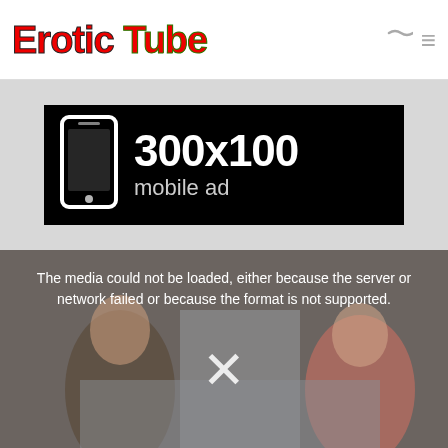Erotic Tube
[Figure (infographic): Black banner ad placeholder showing a mobile phone icon and text '300x100 mobile ad' on a dark background]
[Figure (photo): Video player showing an error message: 'The media could not be loaded, either because the server or network failed or because the format is not supported.' with an X icon over a blurred scene of two people in a bedroom.]